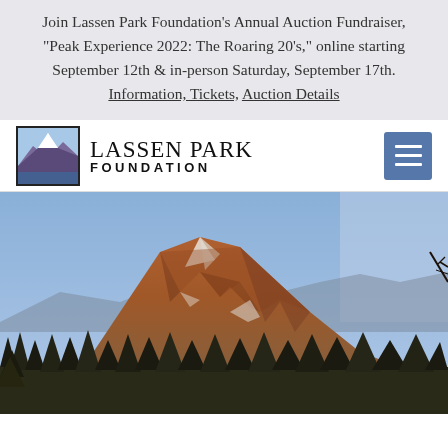Join Lassen Park Foundation's Annual Auction Fundraiser, "Peak Experience 2022: The Roaring 20's," online starting September 12th & in-person Saturday, September 17th. Information, Tickets, Auction Details
[Figure (logo): Lassen Park Foundation logo with mountain illustration and text]
[Figure (photo): Photograph of Lassen Peak mountain with reddish-orange rocky slopes under a blue sky, with conifer forest in the foreground]